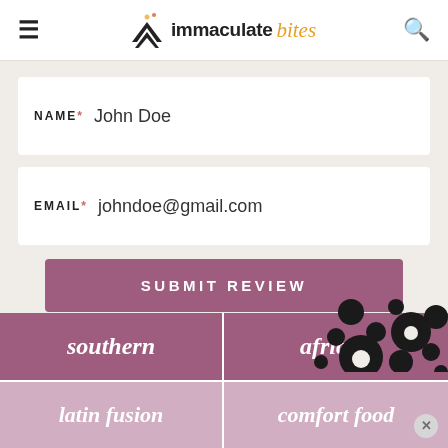[Figure (logo): Immaculate Bites website header with hamburger menu, logo (stylized arrow icon + 'immaculate bites' text), and search icon]
NAME* John Doe
EMAIL* johndoe@gmail.com
SUBMIT REVIEW
[Figure (illustration): Scattered black dots/circles decoration in bottom-right of form area]
southern
african
latin fusion
comfort food